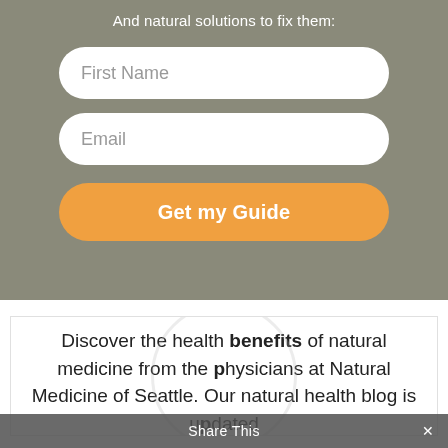And natural solutions to fix them:
[Figure (screenshot): Form with First Name and Email input fields and an orange 'Get my Guide' button, overlaid on a blurred medical desk background image]
Discover the health benefits of natural medicine from the physicians at Natural Medicine of Seattle. Our natural health blog is updated
Share This ×